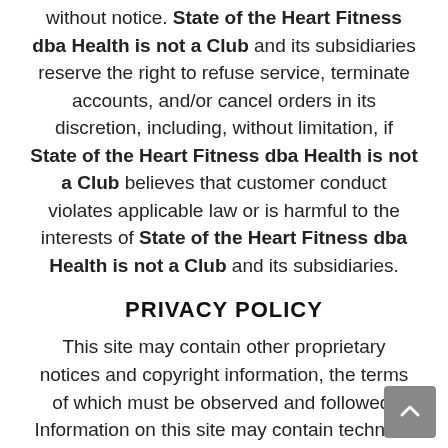without notice. State of the Heart Fitness dba Health is not a Club and its subsidiaries reserve the right to refuse service, terminate accounts, and/or cancel orders in its discretion, including, without limitation, if State of the Heart Fitness dba Health is not a Club believes that customer conduct violates applicable law or is harmful to the interests of State of the Heart Fitness dba Health is not a Club and its subsidiaries.
PRIVACY POLICY
This site may contain other proprietary notices and copyright information, the terms of which must be observed and followed. Information on this site may contain technical inaccuracies or typographical errors. Information, including product